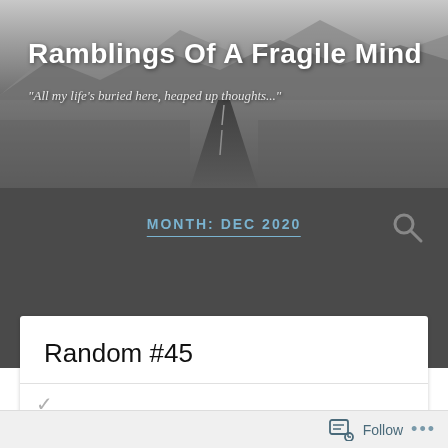[Figure (photo): Black and white photograph of a desert road stretching into the distance with mountains in the background]
Ramblings Of A Fragile Mind
"All my life's buried here, heaped up thoughts..."
MONTH: DEC 2020
Random #45
Follow ...